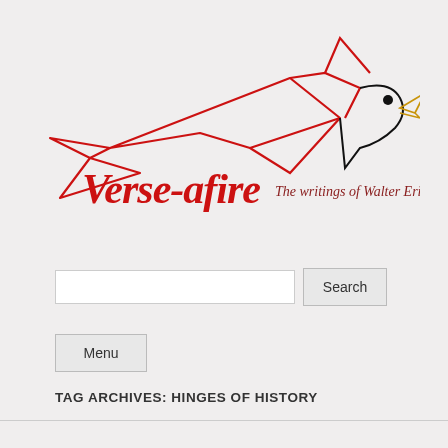[Figure (logo): Verse-afire logo: a stylized cardinal bird drawn in red outline with black head details and yellow beak, flying. Script text reads 'Verse-afire' in red cursive with subtitle 'The writings of Walter Erickson' in dark red italic.]
Search
Menu
TAG ARCHIVES: HINGES OF HISTORY